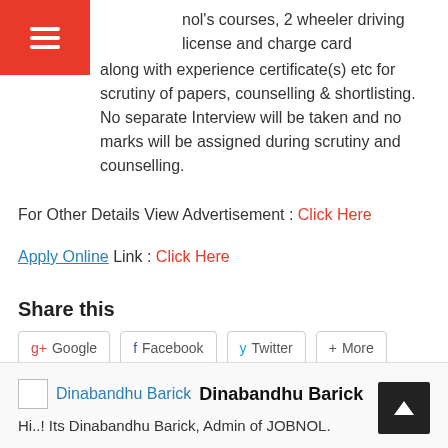Menu (hamburger icon)
nol's courses, 2 wheeler driving license and charge card along with experience certificate(s) etc for scrutiny of papers, counselling & shortlisting. No separate Interview will be taken and no marks will be assigned during scrutiny and counselling.
For Other Details View Advertisement : Click Here
Apply Online Link : Click Here
Share this
g+ Google   f Facebook   y Twitter   + More
Dinabandhu Barick  Dinabandhu Barick
Hi..! Its Dinabandhu Barick, Admin of JOBNOL.